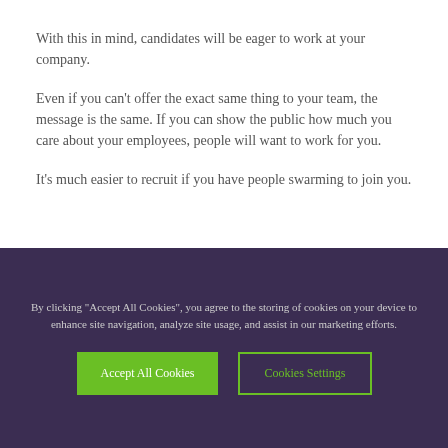With this in mind, candidates will be eager to work at your company.
Even if you can't offer the exact same thing to your team, the message is the same. If you can show the public how much you care about your employees, people will want to work for you.
It's much easier to recruit if you have people swarming to join you.
By clicking "Accept All Cookies", you agree to the storing of cookies on your device to enhance site navigation, analyze site usage, and assist in our marketing efforts.
Accept All Cookies
Cookies Settings